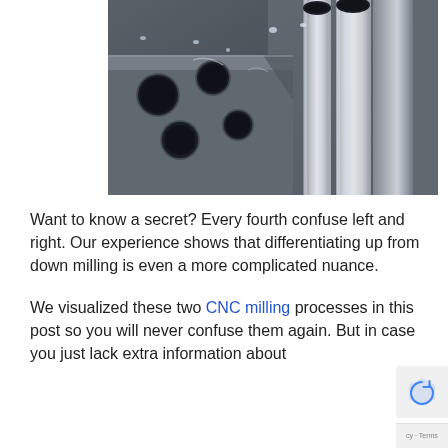[Figure (photo): Close-up photograph of CNC machining process showing metal parts being milled, with shiny aluminum tubes/cylinders and a metal block with circular holes being drilled, with metallic shavings and coolant droplets visible.]
Want to know a secret? Every fourth confuse left and right. Our experience shows that differentiating up from down milling is even a more complicated nuance.
We visualized these two CNC milling processes in this post so you will never confuse them again. But in case you just lack extra information about technical differences between up and down